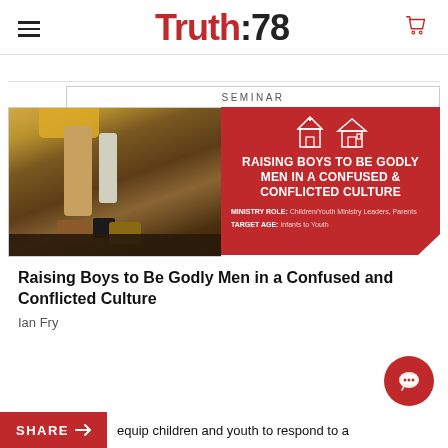Truth:78
[Figure (illustration): Seminar card for 'Raising Boys to Be Godly Men in a Confused and Conflicted Culture' showing legs of adult and child in boots on the left, and a red info panel on the right with church/house icons, title, ministry role and target age.]
Raising Boys to Be Godly Men in a Confused and Conflicted Culture
Ian Fry
equip children and youth to respond to a